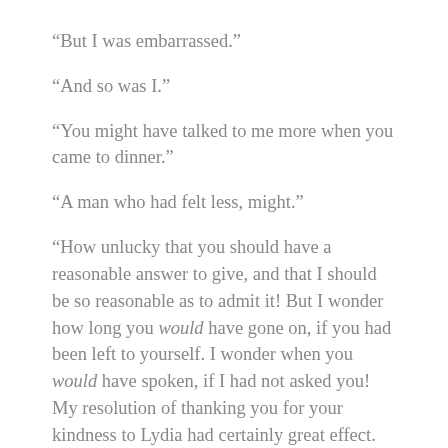“But I was embarrassed.”
“And so was I.”
“You might have talked to me more when you came to dinner.”
“A man who had felt less, might.”
“How unlucky that you should have a reasonable answer to give, and that I should be so reasonable as to admit it! But I wonder how long you would have gone on, if you had been left to yourself. I wonder when you would have spoken, if I had not asked you! My resolution of thanking you for your kindness to Lydia had certainly great effect. Too much, I am afraid; for what becomes of the moral, if